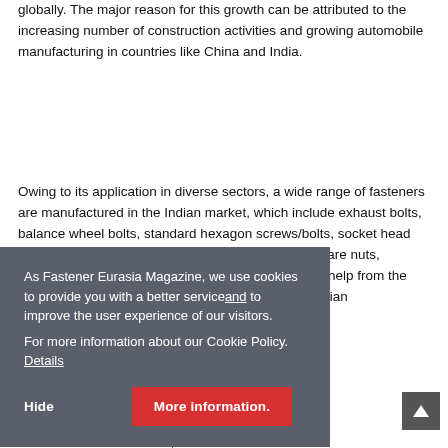globally. The major reason for this growth can be attributed to the increasing number of construction activities and growing automobile manufacturing in countries like China and India.
Owing to its application in diverse sectors, a wide range of fasteners are manufactured in the Indian market, which include exhaust bolts, balance wheel bolts, standard hexagon screws/bolts, socket head cap screws, socket shoulder screws, weld nuts, square nuts, hexagon nuts, self-tapping screws and others. With help from the Indian government's 'Make in India' initiative, the Indian manufacturing sector is expected to generate [significant revenue in the] market.
[The Indian fasteners market is] expected to reach a value [with a CAGR] of ~9.6% from 2018. [Fasteners reach] markets in India through [various channels including] direct dealers, online [platforms]. [A significant portion] of the industry is [dominated by] manufacturers in the Indian market. The majority of fasteners that were imported by India in FY
As Fastener Eurasia Magazine, we use cookies to provide you with a better service and to improve the user experience of our visitors. For more information about our Cookie Policy. Details